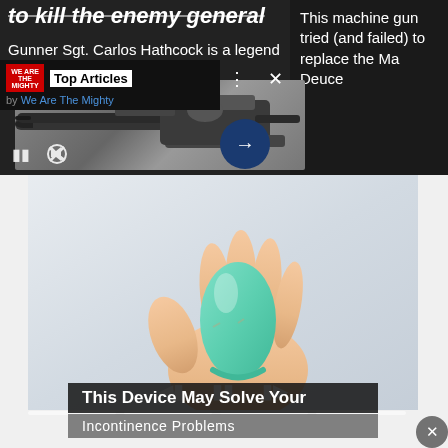to kill the enemy general
Gunner Sgt. Carlos Hathcock is a legend of...
Top Articles by We Are The Mighty
This machine gun tried (and failed) to replace the Ma Deuce
[Figure (screenshot): Screenshot of a webpage showing a military machine gun image (top half) and an advertisement for a pelvic health device (bottom half). The top section is on a dark background with a video player showing a large machine gun. The bottom section shows a hand holding a small teal/mint colored egg-shaped medical device against a light gray background, with an overlay caption 'This Device May Solve Your Incontinence Problems'.]